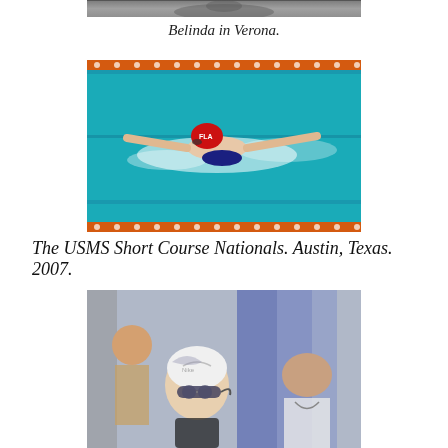[Figure (photo): Partial photo at top of page — person visible from shoulders, black and white or dark tones, cropped]
Belinda in Verona.
[Figure (photo): Swimmer doing butterfly stroke in a pool with orange lane lines; wearing red swim cap with 'FLA' logo; blue water, competition setting]
The USMS Short Course Nationals. Austin, Texas. 2007.
[Figure (photo): Swimmers at pool deck, woman in white Nike swim cap with goggles looking down, people in background]